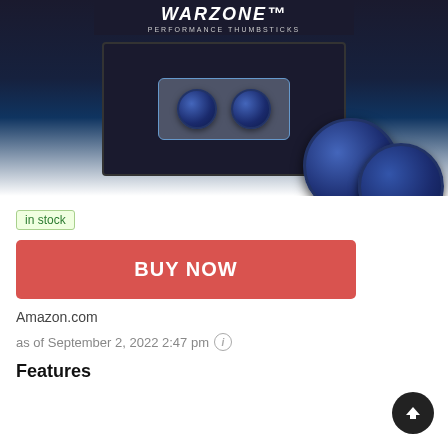[Figure (photo): Product image of Warzone Performance Thumbsticks — packaging with two blue thumbstick caps inside a clear tray on a dark background, plus two larger blue thumbstick caps displayed outside the packaging on the right.]
in stock
BUY NOW
Amazon.com
as of September 2, 2022 2:47 pm ℹ
Features